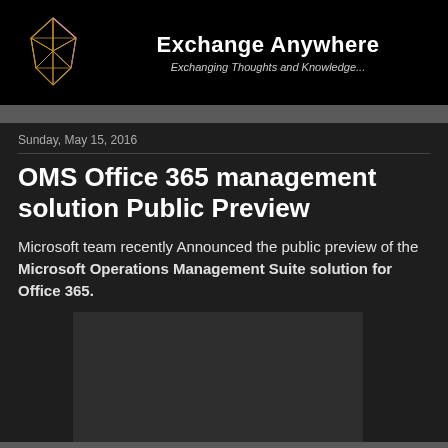[Figure (logo): Exchange Anywhere blog banner with a geometric diamond/crystal logo on black background. Site title 'Exchange Anywhere' in bold white text with subtitle 'Exchanging Thoughts and Knowledge...' in italic gray text.]
Sunday, May 15, 2016
OMS Office 365 management solution Public Preview
Microsoft team recently Announced the public preview of the Microsoft Operations Management Suite solution for Office 365.
[Figure (photo): Dark gray rectangular image placeholder area]